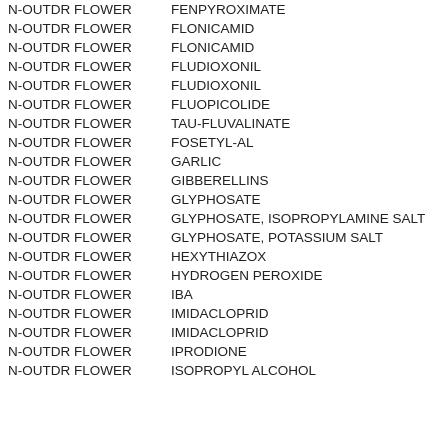| Site | Chemical | Value |
| --- | --- | --- |
| N-OUTDR FLOWER | FENPYROXIMATE | 0.31 |
| N-OUTDR FLOWER | FLONICAMID | 0.19 |
| N-OUTDR FLOWER | FLONICAMID | 2.04 |
| N-OUTDR FLOWER | FLUDIOXONIL | 0.33 |
| N-OUTDR FLOWER | FLUDIOXONIL | 0.25 |
| N-OUTDR FLOWER | FLUOPICOLIDE | 1.12 |
| N-OUTDR FLOWER | TAU-FLUVALINATE | 2.23 |
| N-OUTDR FLOWER | FOSETYL-AL | 2.25 |
| N-OUTDR FLOWER | GARLIC | 0.29 |
| N-OUTDR FLOWER | GIBBERELLINS | 0 |
| N-OUTDR FLOWER | GLYPHOSATE | 0.05 |
| N-OUTDR FLOWER | GLYPHOSATE, ISOPROPYLAMINE SALT | 11.61 |
| N-OUTDR FLOWER | GLYPHOSATE, POTASSIUM SALT | 12.11 |
| N-OUTDR FLOWER | HEXYTHIAZOX | 0.23 |
| N-OUTDR FLOWER | HYDROGEN PEROXIDE | 10.21 |
| N-OUTDR FLOWER | IBA | 0.06 |
| N-OUTDR FLOWER | IMIDACLOPRID | 0.08 |
| N-OUTDR FLOWER | IMIDACLOPRID | 0.06 |
| N-OUTDR FLOWER | IPRODIONE | 6.62 |
| N-OUTDR FLOWER | ISOPROPYL ALCOHOL | 0.01 |